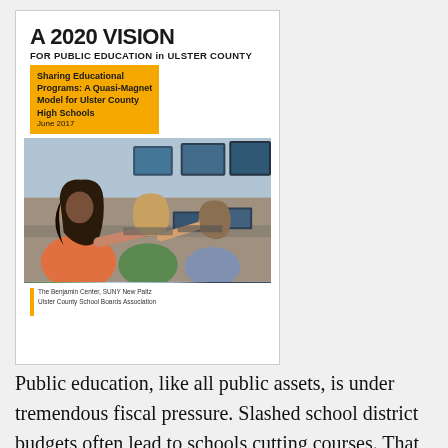[Figure (illustration): Book cover for 'A 2020 Vision for Public Education in Ulster County' - Sharing Educational Programs: A Quasi-Magnet Model for Ulster County High Schools, June 2017. Features a photo of students at computers. Published by The Benjamin Center, SUNY New Paltz and Ulster County School Boards Association.]
Public education, like all public assets, is under tremendous fiscal pressure. Slashed school district budgets often lead to schools cutting courses. That can mean anything from not teaching the latest computer science to stinting on the range of languages offered. And if you cannot afford to